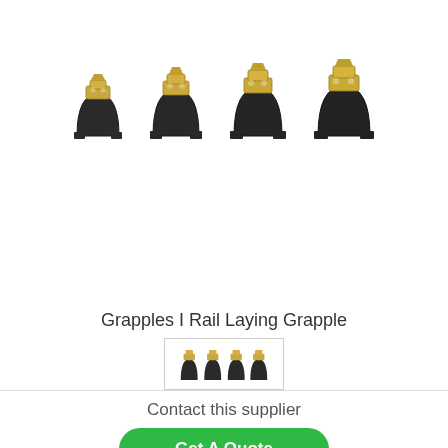[Figure (photo): Four rail laying grapple clamps shown from slightly different angles, each with a dark metal U-shaped base and a golden/brass top fastener]
Grapples I Rail Laying Grapple
[Figure (photo): Thumbnail image of four rail laying grapples in a bordered box]
Contact this supplier
Get A Quote
Call